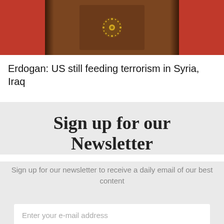[Figure (photo): Photo of a podium with Turkish presidential emblem, flanked by red Turkish flags on both sides, with a dark wooden background]
Erdogan: US still feeding terrorism in Syria, Iraq
Sign up for our Newsletter
Sign up for our newsletter to receive a daily email of our best content
Enter your e-mail address
GET STARTED
[Figure (screenshot): Dark footer bar with hamburger menu icon on the right side]